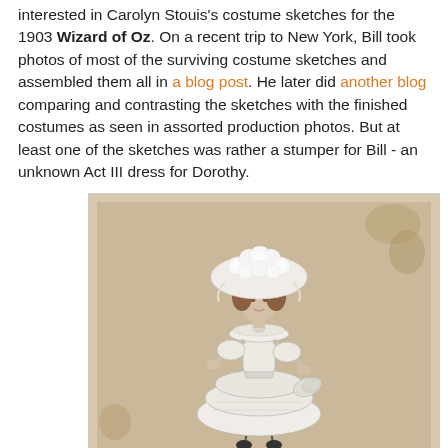interested in Carolyn Stouis's costume sketches for the 1903 Wizard of Oz. On a recent trip to New York, Bill took photos of most of the surviving costume sketches and assembled them all in a blog post. He later did another blog comparing and contrasting the sketches with the finished costumes as seen in assorted production photos. But at least one of the sketches was rather a stumper for Bill - an unknown Act III dress for Dorothy.
[Figure (illustration): A vintage costume sketch of Dorothy in a white ruffled dress with a large white floral bonnet, shown full-length on a beige/tan aged background.]